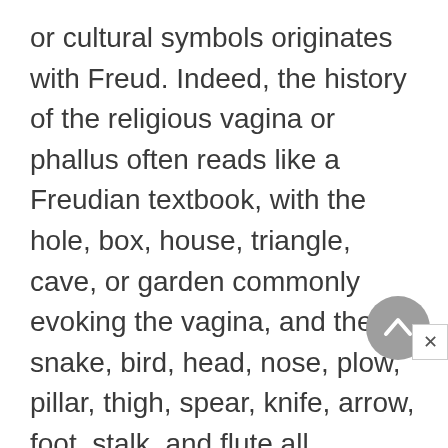or cultural symbols originates with Freud. Indeed, the history of the religious vagina or phallus often reads like a Freudian textbook, with the hole, box, house, triangle, cave, or garden commonly evoking the vagina, and the snake, bird, head, nose, plow, pillar, thigh, spear, knife, arrow, foot, stalk, and flute all standing in for the omnipresent but not quite present phallus (one needs to be careful here, though, for there are many "reversals," such as the Indic serpent, which is